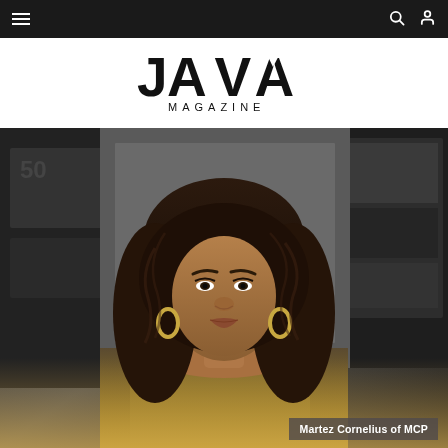Navigation bar with hamburger menu, search, and user icons
[Figure (logo): JAVA MAGAZINE logo in black text on white background]
[Figure (photo): Portrait photo of a young woman with curly hair, gold hoop earrings, wearing a metallic off-shoulder top, posed in front of black and white artwork/posters. Background is a gallery or studio setting.]
Martez Cornelius of MCP